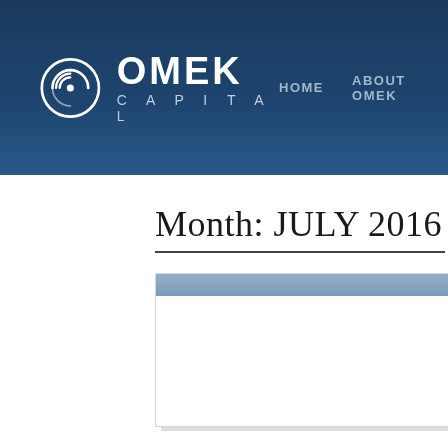[Figure (logo): Omek Capital logo with circular icon and text]
HOME    ABOUT OMEK
Month: July 2016
[Figure (screenshot): Card/panel with blue top bar and white body, partially visible]